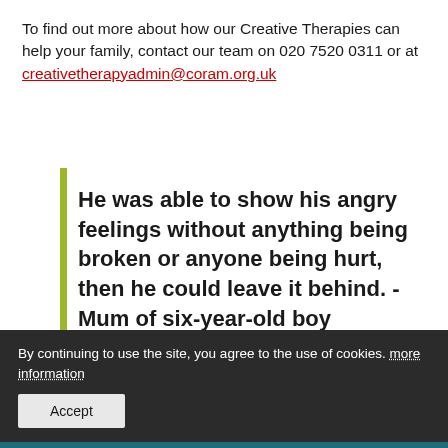To find out more about how our Creative Therapies can help your family, contact our team on 020 7520 0311 or at creativetherapyadmin@coram.org.uk
He was able to show his angry feelings without anything being broken or anyone being hurt, then he could leave it behind. - Mum of six-year-old boy
By continuing to use the site, you agree to the use of cookies. more information